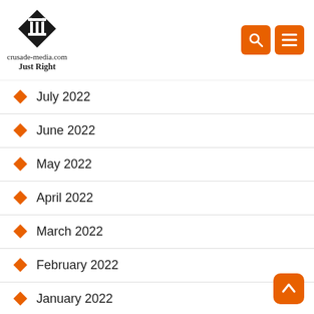crusade-media.com Just Right
July 2022
June 2022
May 2022
April 2022
March 2022
February 2022
January 2022
December 2021